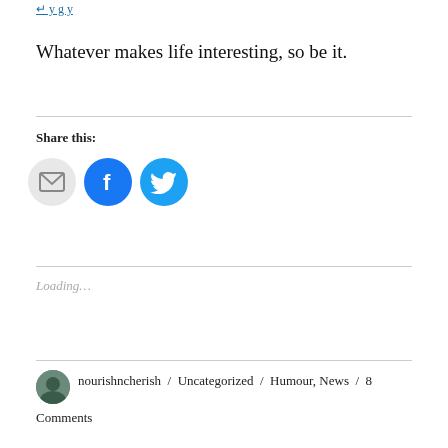Whatever makes life interesting, so be it.
Share this:
[Figure (other): Social share icons: email (grey circle), Facebook (blue circle), Twitter (light blue circle)]
Loading...
nourishncherish / Uncategorized / Humour, News / 8 Comments